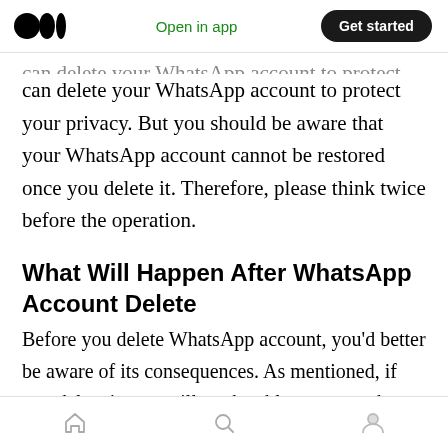Medium app navigation bar — logo, Open in app, Get started
can delete your WhatsApp account to protect your privacy. But you should be aware that your WhatsApp account cannot be restored once you delete it. Therefore, please think twice before the operation.
What Will Happen After WhatsApp Account Delete
Before you delete WhatsApp account, you'd better be aware of its consequences. As mentioned, if you delete it, you will not be able to access the account anymore. And it will erase
Bottom navigation: Home, Search, Profile